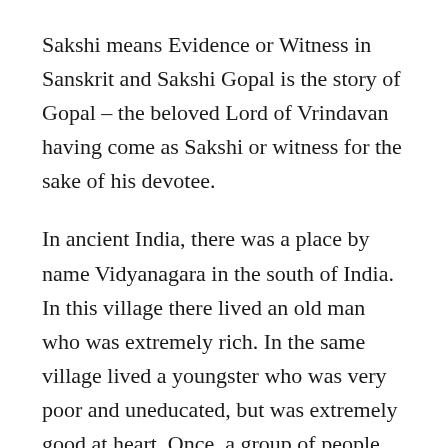Sakshi means Evidence or Witness in Sanskrit and Sakshi Gopal is the story of Gopal – the beloved Lord of Vrindavan having come as Sakshi or witness for the sake of his devotee.
In ancient India, there was a place by name Vidyanagara in the south of India. In this village there lived an old man who was extremely rich. In the same village lived a youngster who was very poor and uneducated, but was extremely good at heart. Once, a group of people from this village prepared to go for a yatra or pilgrimage to North India and visit places of religious importance. The rich man and the poor youth also joined the group and they started their journey. In those days of lack of transportation...